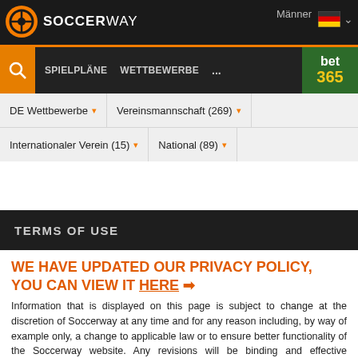Soccerway — Männer
SPIELPLÄNE   WETTBEWERBE   ...
bet 365
DE Wettbewerbe ▾   Vereinsmannschaft (269) ▾
Internationaler Verein (15) ▾   National (89) ▾
TERMS OF USE
WE HAVE UPDATED OUR PRIVACY POLICY, YOU CAN VIEW IT HERE ➔
Information that is displayed on this page is subject to change at the discretion of Soccerway at any time and for any reason including, by way of example only, a change to applicable law or to ensure better functionality of the Soccerway website. Any revisions will be binding and effective immediately on posting of notification on the website.